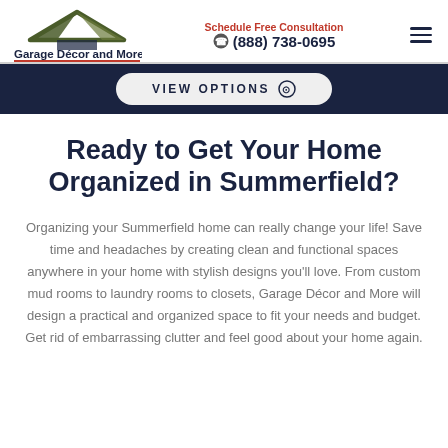[Figure (logo): Garage Décor and More logo with house/roof icon in olive green and dark colors, with red underline]
Schedule Free Consultation (888) 738-0695
VIEW OPTIONS ⊙
Ready to Get Your Home Organized in Summerfield?
Organizing your Summerfield home can really change your life! Save time and headaches by creating clean and functional spaces anywhere in your home with stylish designs you'll love. From custom mud rooms to laundry rooms to closets, Garage Décor and More will design a practical and organized space to fit your needs and budget. Get rid of embarrassing clutter and feel good about your home again.